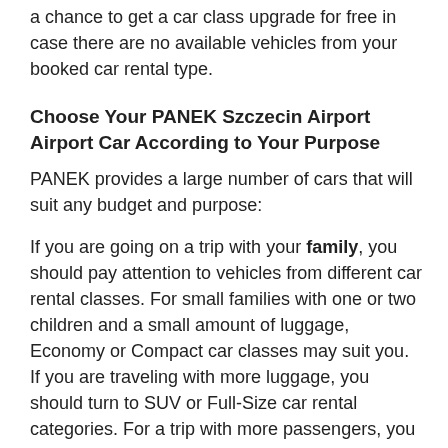a chance to get a car class upgrade for free in case there are no available vehicles from your booked car rental type.
Choose Your PANEK Szczecin Airport Airport Car According to Your Purpose
PANEK provides a large number of cars that will suit any budget and purpose:
If you are going on a trip with your family, you should pay attention to vehicles from different car rental classes. For small families with one or two children and a small amount of luggage, Economy or Compact car classes may suit you. If you are traveling with more luggage, you should turn to SUV or Full-Size car rental categories. For a trip with more passengers, you should search for 7 seaters, 9 passenger minivans, and maybe 12 passenger vans.
If you are trying to find a car from PANEK in Szczecin